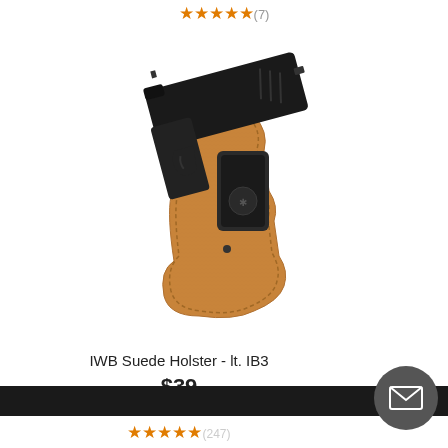★★★★★(7)
[Figure (photo): IWB suede holster in tan/light brown leather with a black plastic belt clip, holding a black semi-automatic pistol. The holster has visible stitching around the edges.]
IWB Suede Holster - lt. IB3
$39
★★★★★(247)